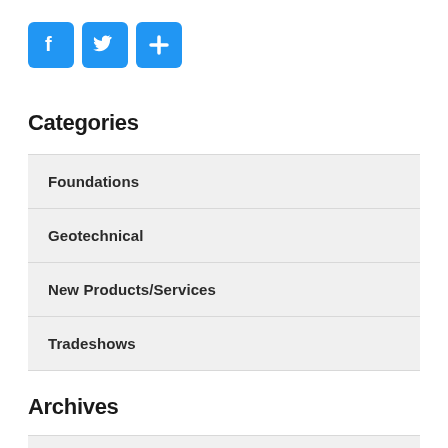[Figure (illustration): Three blue social media icon buttons: Facebook (f), Twitter (bird), and a share/plus button]
Categories
Foundations
Geotechnical
New Products/Services
Tradeshows
Archives